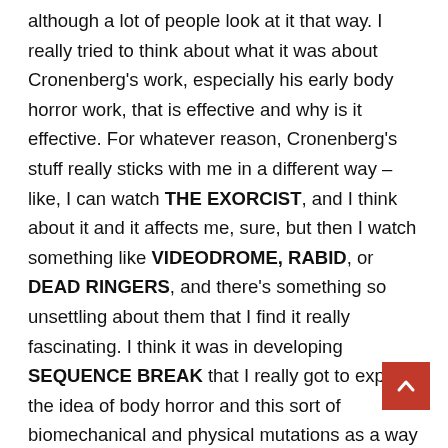although a lot of people look at it that way. I really tried to think about what it was about Cronenberg's work, especially his early body horror work, that is effective and why is it effective. For whatever reason, Cronenberg's stuff really sticks with me in a different way – like, I can watch THE EXORCIST, and I think about it and it affects me, sure, but then I watch something like VIDEODROME, RABID, or DEAD RINGERS, and there's something so unsettling about them that I find it really fascinating. I think it was in developing SEQUENCE BREAK that I really got to explore the idea of body horror and this sort of biomechanical and physical mutations as a way of cinematically making metaphors come to life. It's a totally unique thing that you can only do in a movie, and I think Cronenberg does that so beautifully. So for me, I ultimately